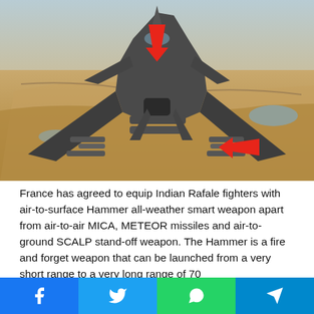[Figure (photo): Aerial photo of an Indian Rafale fighter jet loaded with missiles including MICA, METEOR, SCALP, and Hammer weapons. Two large red arrows point to specific weapons mounted under the wings. The aircraft is flying over a desert/arid landscape.]
France has agreed to equip Indian Rafale fighters with air-to-surface Hammer all-weather smart weapon apart from air-to-air MICA, METEOR missiles and air-to-ground SCALP stand-off weapon. The Hammer is a fire and forget weapon that can be launched from a very short range to a very long range of 70